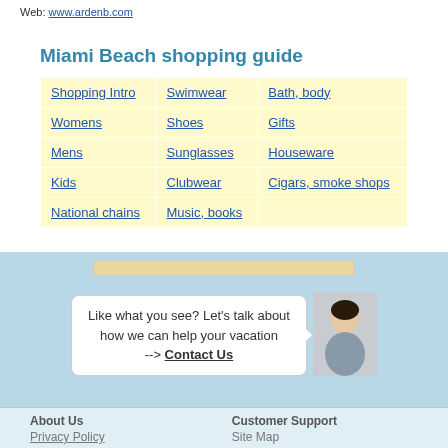Web: www.ardenb.com
Miami Beach shopping guide
| Shopping Intro | Swimwear | Bath, body |
| Womens | Shoes | Gifts |
| Mens | Sunglasses | Houseware |
| Kids | Clubwear | Cigars, smoke shops |
| National chains | Music, books |  |
Like what you see? Let's talk about how we can help your vacation --> Contact Us
About Us
Customer Support
Privacy Policy
Site Map